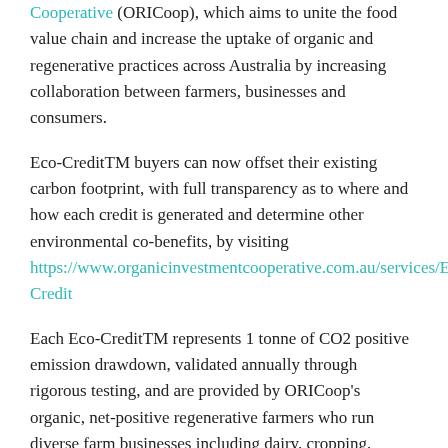Cooperative (ORICoop), which aims to unite the food value chain and increase the uptake of organic and regenerative practices across Australia by increasing collaboration between farmers, businesses and consumers.
Eco-CreditTM buyers can now offset their existing carbon footprint, with full transparency as to where and how each credit is generated and determine other environmental co-benefits, by visiting https://www.organicinvestmentcooperative.com.au/services/Eco-Credit
Each Eco-CreditTM represents 1 tonne of CO2 positive emission drawdown, validated annually through rigorous testing, and are provided by ORICoop's organic, net-positive regenerative farmers who run diverse farm businesses including dairy, cropping, livestock and mixed